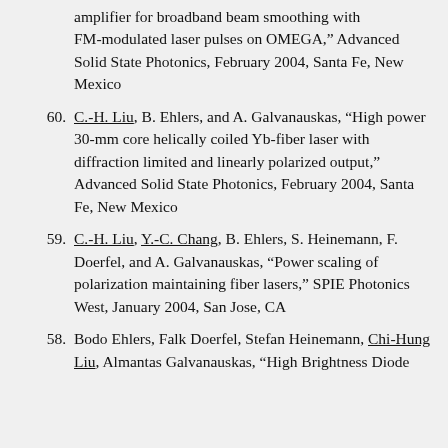(continuation) amplifier for broadband beam smoothing with FM-modulated laser pulses on OMEGA," Advanced Solid State Photonics, February 2004, Santa Fe, New Mexico
60. C.-H. Liu, B. Ehlers, and A. Galvanauskas, "High power 30-mm core helically coiled Yb-fiber laser with diffraction limited and linearly polarized output," Advanced Solid State Photonics, February 2004, Santa Fe, New Mexico
59. C.-H. Liu, Y.-C. Chang, B. Ehlers, S. Heinemann, F. Doerfel, and A. Galvanauskas, "Power scaling of polarization maintaining fiber lasers," SPIE Photonics West, January 2004, San Jose, CA
58. Bodo Ehlers, Falk Doerfel, Stefan Heinemann, Chi-Hung Liu, Almantas Galvanauskas, "High Brightness Diode